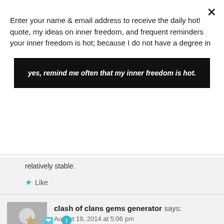Enter your name & email address to receive the daily hot! quote, my ideas on inner freedom, and frequent reminders your inner freedom is hot; because I do not have a degree in
yes, remind me often that my inner freedom is hot.
relatively stable.
Like
REPLY
clash of clans gems generator says:
August 19, 2014 at 5:06 pm